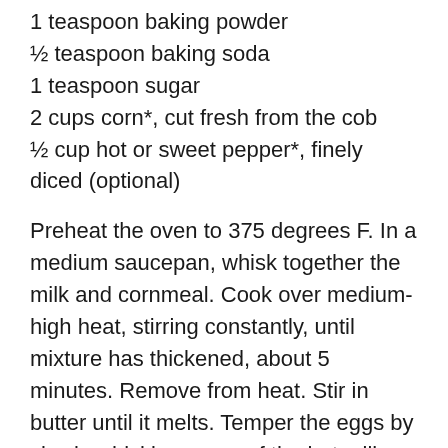1 teaspoon baking powder
½ teaspoon baking soda
1 teaspoon sugar
2 cups corn*, cut fresh from the cob
½ cup hot or sweet pepper*, finely diced (optional)
Preheat the oven to 375 degrees F. In a medium saucepan, whisk together the milk and cornmeal. Cook over medium-high heat, stirring constantly, until mixture has thickened, about 5 minutes. Remove from heat. Stir in butter until it melts. Temper the eggs by slowly whisking some of the hot milk mixture into the beaten eggs. Stir the tempered eggs into the milk mixture. Stir in 1 cup of the shredded cheese, baking powder, baking soda, sugar, corn and pepper, if